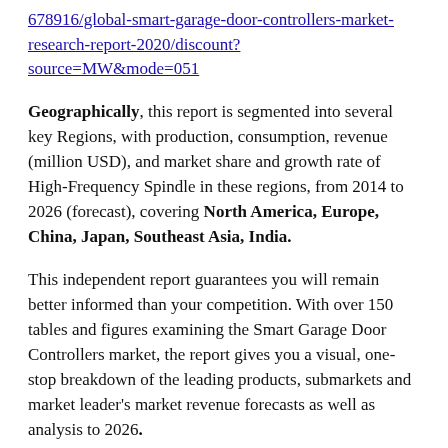678916/global-smart-garage-door-controllers-market-research-report-2020/discount?source=MW&mode=051
Geographically, this report is segmented into several key Regions, with production, consumption, revenue (million USD), and market share and growth rate of High-Frequency Spindle in these regions, from 2014 to 2026 (forecast), covering North America, Europe, China, Japan, Southeast Asia, India.
This independent report guarantees you will remain better informed than your competition. With over 150 tables and figures examining the Smart Garage Door Controllers market, the report gives you a visual, one-stop breakdown of the leading products, submarkets and market leader's market revenue forecasts as well as analysis to 2026.